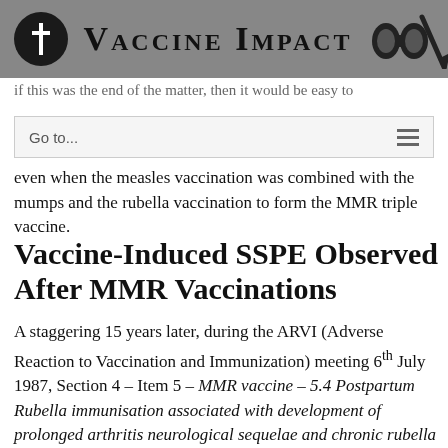Vaccine Impact
if this was the end of the matter, then it would be easy to
Go to...
even when the measles vaccination was combined with the mumps and the rubella vaccination to form the MMR triple vaccine.
Vaccine-Induced SSPE Observed After MMR Vaccinations
A staggering 15 years later, during the ARVI (Adverse Reaction to Vaccination and Immunization) meeting 6th July 1987, Section 4 – Item 5 – MMR vaccine – 5.4 Postpartum Rubella immunisation associated with development of prolonged arthritis neurological sequelae and chronic rubella arthritis Tingle et al. J. of Inf. Diseases (1985), Vol 152: pages 606-612 the committee members can be seen discussing points raised in the previous ARVI meeting. [5]